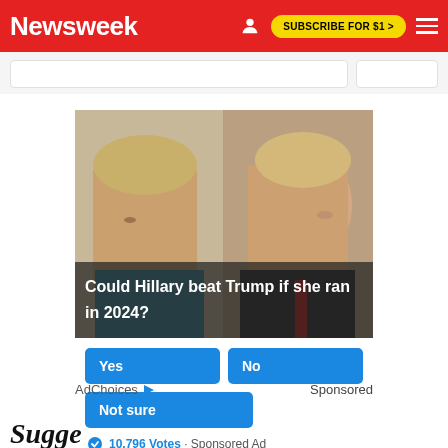Newsweek  SUBSCRIBE FOR $1 >
[Figure (photo): Photo of Hillary Clinton and Donald Trump facing each other, side by side, with a dark overlay at the bottom containing the text 'Could Hillary beat Trump if she ran in 2024?']
Yes
No
Not sure
10,796 Votes · Sponsored Ad
AdChoices  Sponsored